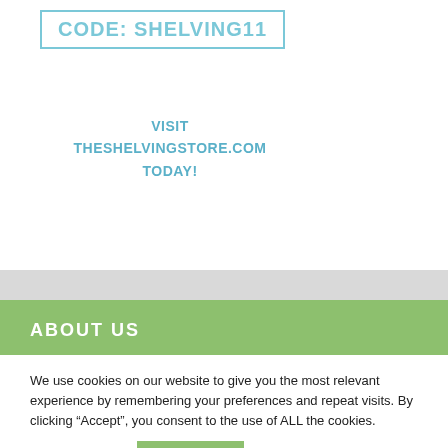CODE: SHELVING11
VISIT THESHELVINGSTORE.COM TODAY!
ABOUT US
We use cookies on our website to give you the most relevant experience by remembering your preferences and repeat visits. By clicking “Accept”, you consent to the use of ALL the cookies.
Cookie settings  ACCEPT